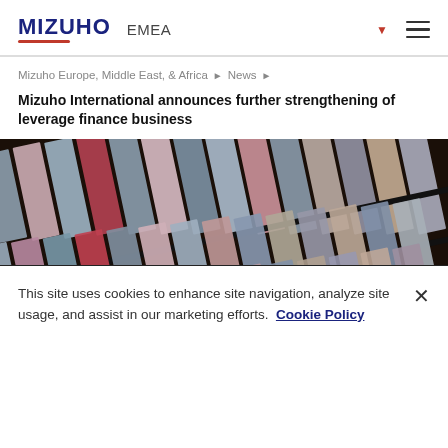MIZUHO EMEA
Mizuho Europe, Middle East, & Africa ▶ News ▶
Mizuho International announces further strengthening of leverage finance business
[Figure (photo): Architectural photograph showing diagonal rows of metallic and colored panels or fins arranged in parallel lines against a dark background]
This site uses cookies to enhance site navigation, analyze site usage, and assist in our marketing efforts. Cookie Policy